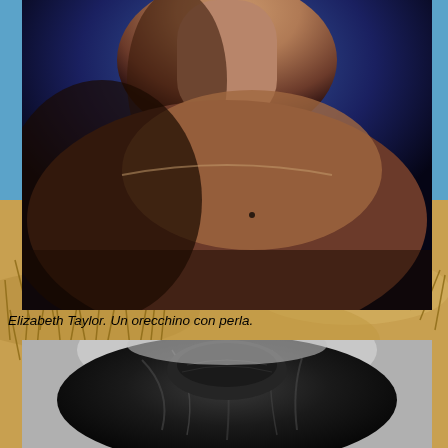[Figure (photo): Close-up color photograph of a person's neck and bare shoulder against a dark blue-purple background, with dramatic shadow lighting]
Elizabeth Taylor. Un orecchino con perla.
[Figure (photo): Black and white portrait photograph showing the top of a person's head with dark hair arranged in an updo style]